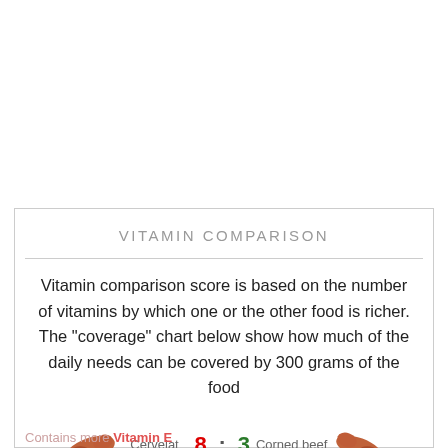VITAMIN COMPARISON
Vitamin comparison score is based on the number of vitamins by which one or the other food is richer. The "coverage" chart below show how much of the daily needs can be covered by 300 grams of the food
[Figure (infographic): Score comparison row showing Cervelat food image on left, score 8 (red) : 3 (green), Corned beef food image on right]
Contains more Vitamin E